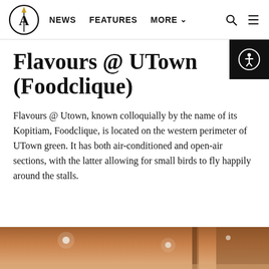NEWS  FEATURES  MORE
Flavours @ UTown (Foodclique)
Flavours @ Utown, known colloquially by the name of its Kopitiam, Foodclique, is located on the western perimeter of UTown green. It has both air-conditioned and open-air sections, with the latter allowing for small birds to fly happily around the stalls.
[Figure (photo): Interior photo of Flavours @ UTown canteen showing ceiling with light fixtures]